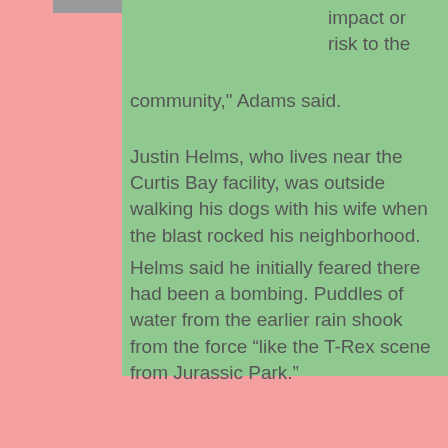[Figure (photo): Partial image strip visible at top of page]
impact or risk to the community," Adams said.
Justin Helms, who lives near the Curtis Bay facility, was outside walking his dogs with his wife when the blast rocked his neighborhood.
Helms said he initially feared there had been a bombing. Puddles of water from the earlier rain shook from the force “like the T-Rex scene from Jurassic Park.”
"We just tried to brace ourselves looking around to see what happened while windows were busting out of houses," he said. Helms said his house did not appear to be damaged, but several neighbors lost windows.
One of the more exciting times I had as a scientist was on a small boat collecting sediment in Baltimore Harbor when a paint plant nearby exploded, sending a cloud into the air, and